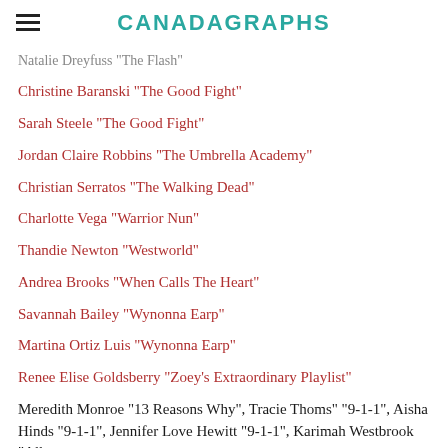CANADAGRAPHS
Natalie Dreyfuss "The Flash"
Christine Baranski "The Good Fight"
Sarah Steele "The Good Fight"
Jordan Claire Robbins "The Umbrella Academy"
Christian Serratos "The Walking Dead"
Charlotte Vega "Warrior Nun"
Thandie Newton "Westworld"
Andrea Brooks "When Calls The Heart"
Savannah Bailey "Wynonna Earp"
Martina Ortiz Luis "Wynonna Earp"
Renee Elise Goldsberry "Zoey's Extraordinary Playlist"
Meredith Monroe "13 Reasons Why", Tracie Thoms" "9-1-1", Aisha Hinds "9-1-1", Jennifer Love Hewitt "9-1-1", Karimah Westbrook "All American", Monet Mazur "All American", Gabrielle Rose "Away", Jill Scott "Black Lightning", Chantal Thuy "Black Lightning", Christine